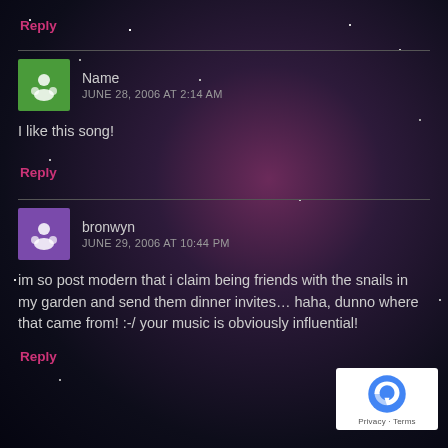Reply
Name
JUNE 28, 2006 AT 2:14 AM
I like this song!
Reply
bronwyn
JUNE 29, 2006 AT 10:44 PM
im so post modern that i claim being friends with the snails in my garden and send them dinner invites… haha, dunno where that came from! :-/ your music is obviously influential!
Reply